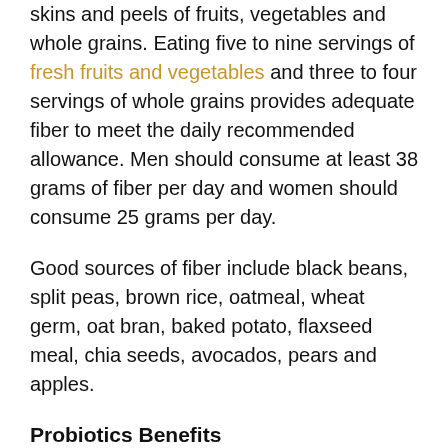skins and peels of fruits, vegetables and whole grains. Eating five to nine servings of fresh fruits and vegetables and three to four servings of whole grains provides adequate fiber to meet the daily recommended allowance. Men should consume at least 38 grams of fiber per day and women should consume 25 grams per day.
Good sources of fiber include black beans, split peas, brown rice, oatmeal, wheat germ, oat bran, baked potato, flaxseed meal, chia seeds, avocados, pears and apples.
Probiotics Benefits
Probiotics are living strains of bacteria and yeast that regulate digestion, immune function and hormone production. A healthy colon